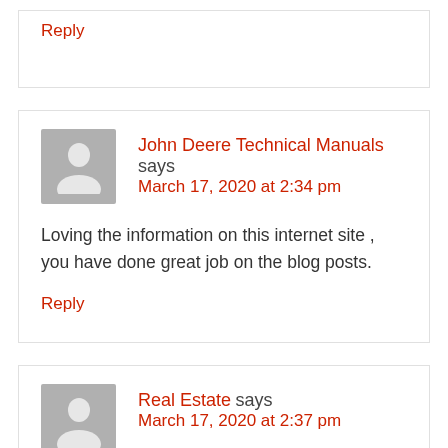Reply
John Deere Technical Manuals says
March 17, 2020 at 2:34 pm
Loving the information on this internet site , you have done great job on the blog posts.
Reply
Real Estate says
March 17, 2020 at 2:37 pm